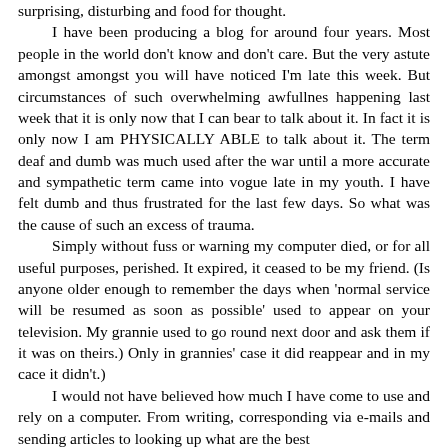surprising, disturbing and food for thought.

I have been producing a blog for around four years. Most people in the world don't know and don't care. But the very astute amongst amongst you will have noticed I'm late this week. But circumstances of such overwhelming awfullnes happening last week that it is only now that I can bear to talk about it. In fact it is only now I am PHYSICALLY ABLE to talk about it. The term deaf and dumb was much used after the war until a more accurate and sympathetic term came into vogue late in my youth. I have felt dumb and thus frustrated for the last few days. So what was the cause of such an excess of trauma.

Simply without fuss or warning my computer died, or for all useful purposes, perished. It expired, it ceased to be my friend. (Is anyone older enough to remember the days when 'normal service will be resumed as soon as possible' used to appear on your television. My grannie used to go round next door and ask them if it was on theirs.) Only in grannies' case it did reappear and in my cace it didn't.)

I would not have believed how much I have come to use and rely on a computer. From writing, corresponding via e-mails and sending articles to looking up what are the best